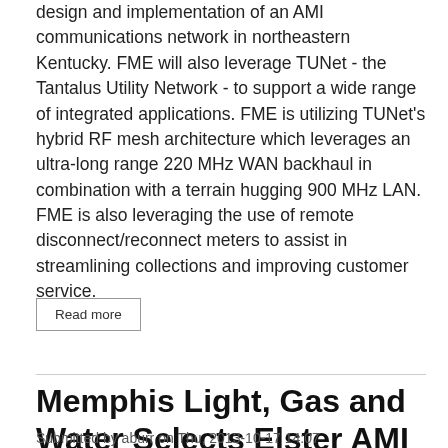design and implementation of an AMI communications network in northeastern Kentucky. FME will also leverage TUNet - the Tantalus Utility Network - to support a wide range of integrated applications. FME is utilizing TUNet's hybrid RF mesh architecture which leverages an ultra-long range 220 MHz WAN backhaul in combination with a terrain hugging 900 MHz LAN. FME is also leveraging the use of remote disconnect/reconnect meters to assist in streamlining collections and improving customer service.
Read more
Memphis Light, Gas and Water Selects Elster AMI
Submitted by aburr on Thu, 2013-10-17 14:07